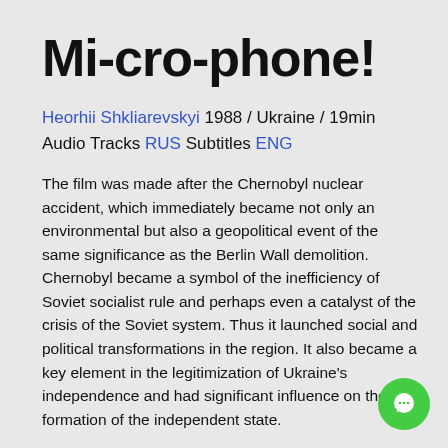Mi-cro-phone!
Heorhii Shkliarevskyi 1988 / Ukraine / 19min
Audio Tracks RUS Subtitles ENG
The film was made after the Chernobyl nuclear accident, which immediately became not only an environmental but also a geopolitical event of the same significance as the Berlin Wall demolition. Chernobyl became a symbol of the inefficiency of Soviet socialist rule and perhaps even a catalyst of the crisis of the Soviet system. Thus it launched social and political transformations in the region. It also became a key element in the legitimization of Ukraine's independence and had significant influence on the formation of the independent state.
Soviet policies were aimed at concealing or distorting even minimal information about the accident. In such